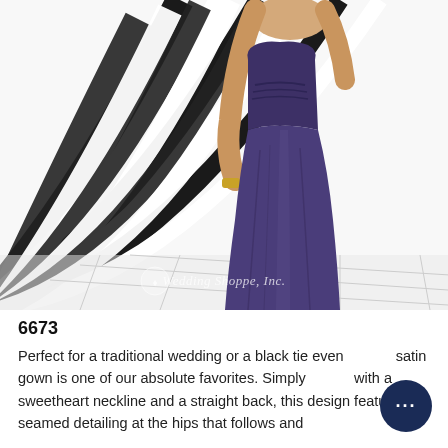[Figure (photo): A model wearing a long navy/purple satin bridesmaid gown with sweetheart neckline, photographed against a black and white striped/spiral background. Watermark reads 'Wedding Shoppe, Inc.' at the bottom of the image.]
6673
Perfect for a traditional wedding or a black tie event, this satin gown is one of our absolute favorites. Simply elegant with a sweetheart neckline and a straight back, this design features seamed detailing at the hips that follows and